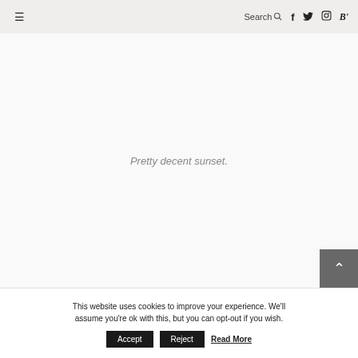≡  Search 🔍  f  𝕏  Instagram  B'
Pretty decent sunset.
This website uses cookies to improve your experience. We'll assume you're ok with this, but you can opt-out if you wish.
Accept  Reject  Read More